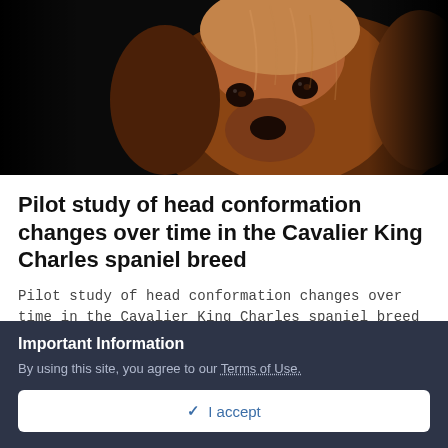[Figure (photo): Close-up photo of a Cavalier King Charles Spaniel dog with long auburn/reddish-brown fur against a black background]
Pilot study of head conformation changes over time in the Cavalier King Charles spaniel breed
Pilot study of head conformation changes over time in the Cavalier King Charles spaniel breed
Important Information
By using this site, you agree to our Terms of Use.
✓ I accept